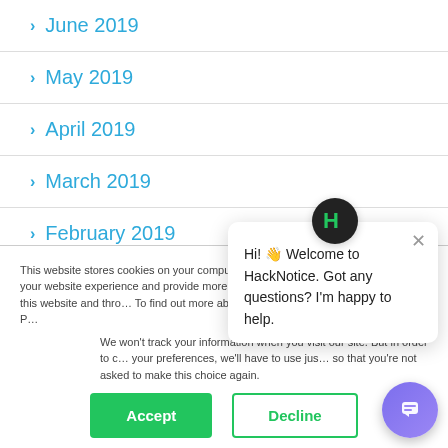June 2019
May 2019
April 2019
March 2019
February 2019
This website stores cookies on your computer. These cookies are used to improve your website experience and provide more personalised services to you, both on this website and through other media. To find out more about the cookies we use, see our Privacy Policy.
We won't track your information when you visit our site. But in order to comply with your preferences, we'll have to use just one tiny cookie so that you're not asked to make this choice again.
Hi! 👋 Welcome to HackNotice. Got any questions? I'm happy to help.